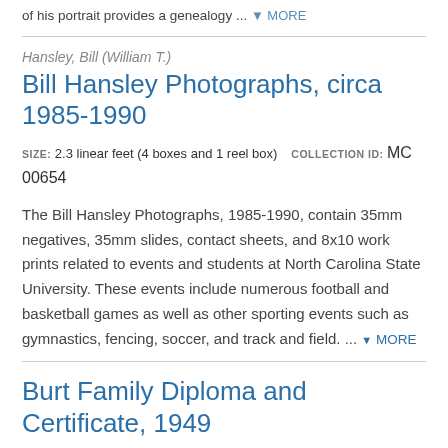of his portrait provides a genealogy ... ▼ MORE
Hansley, Bill (William T.)
Bill Hansley Photographs, circa 1985-1990
SIZE: 2.3 linear feet (4 boxes and 1 reel box)    COLLECTION ID: MC 00654
The Bill Hansley Photographs, 1985-1990, contain 35mm negatives, 35mm slides, contact sheets, and 8x10 work prints related to events and students at North Carolina State University. These events include numerous football and basketball games as well as other sporting events such as gymnastics, fencing, soccer, and track and field. ... ▼ MORE
Burt Family Diploma and Certificate, 1949